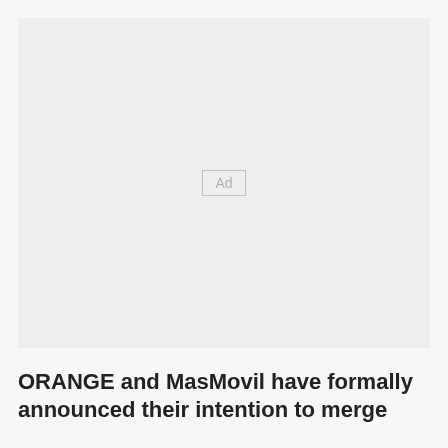[Figure (other): Advertisement placeholder box with 'Ad' label in center]
ORANGE and MasMovil have formally announced their intention to merge